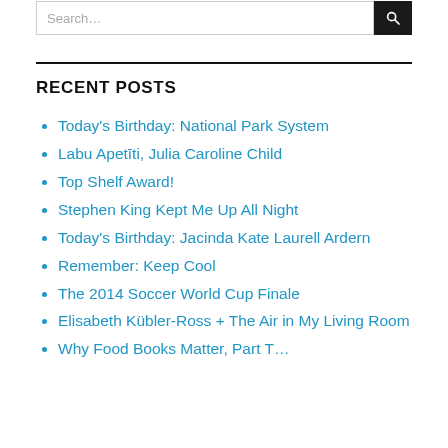Search...
RECENT POSTS
Today's Birthday: National Park System
Labu Apetīti, Julia Caroline Child
Top Shelf Award!
Stephen King Kept Me Up All Night
Today's Birthday: Jacinda Kate Laurell Ardern
Remember: Keep Cool
The 2014 Soccer World Cup Finale
Elisabeth Kübler-Ross + The Air in My Living Room
Why Food Books Matter, Part T…